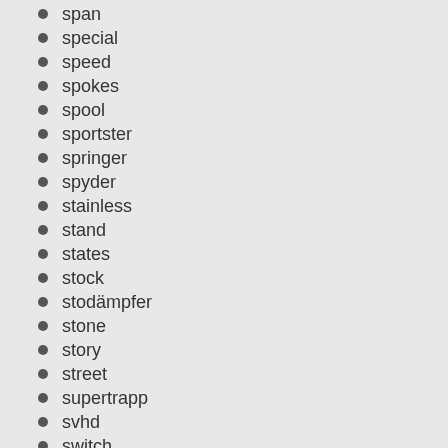span
special
speed
spokes
spool
sportster
springer
spyder
stainless
stand
states
stock
stodämpfer
stone
story
street
supertrapp
svhd
switch
taller